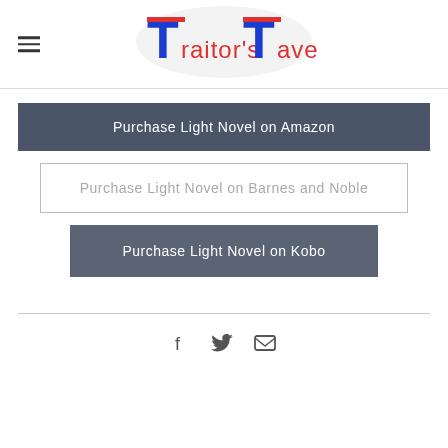Traitor's Tavern
Purchase Light Novel on Amazon
Purchase Light Novel on Barnes and Noble
Purchase Light Novel on Kobo
[Figure (logo): Social media icons: Facebook, Twitter, Email]